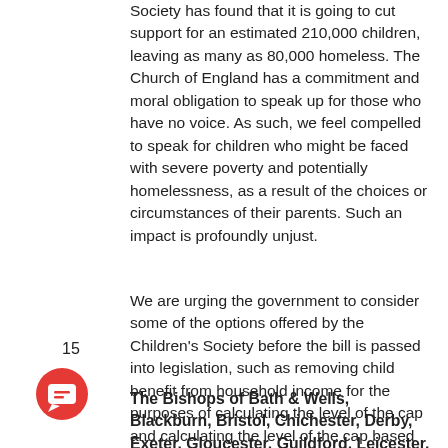Society has found that it is going to cut support for an estimated 210,000 children, leaving as many as 80,000 homeless. The Church of England has a commitment and moral obligation to speak up for those who have no voice. As such, we feel compelled to speak for children who might be faced with severe poverty and potentially homelessness, as a result of the choices or circumstances of their parents. Such an impact is profoundly unjust.
We are urging the government to consider some of the options offered by the Children's Society before the bill is passed into legislation, such as removing child benefit from household income for the purposes of calculating the level of the cap and calculating the level of the cap based on earnings of families with children, rather than all households. The government could also consider removing certain vulnerable groups from the cap and the introduction of a significant “grace period” of exemption from the cap for households which have recently left employment.
15
The Bishops of Bath & Wells, Blackburn, Bristol, Chichester, Derby, Exeter, Gloucester, Guildford, Leicester, Lichfield, London, Manchester, Norwich,